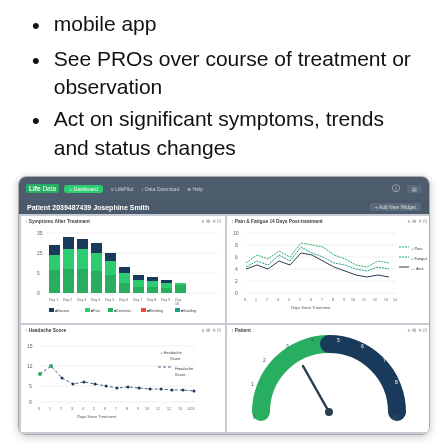mobile app
See PROs over course of treatment or observation
Act on significant symptoms, trends and status changes
[Figure (screenshot): Dashboard screenshot of LifeData clinical platform showing Patient 2039487439 Josephine Smith with four chart panels: a stacked bar chart of symptoms after treatment (Nausea, Pain, Dizziness, Bleeding, Swelling) over Days 1-10, a line chart of Pain & Fatigue 14 Days Post-treatment showing Pain, Fatigue, and Axis lines over Days Since Treatment 0-14, a scatter/line chart of Headache Score over Days Since Treatment 0-15, and a gauge/dial chart for Patient score.]